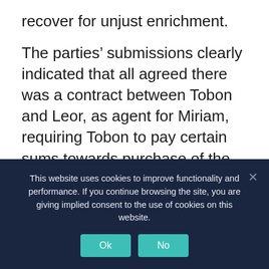recover for unjust enrichment.
The parties' submissions clearly indicated that all agreed there was a contract between Tobon and Leor, as agent for Miriam, requiring Tobon to pay certain sums towards purchase of the restaurant. There was substantial disagreement as to the whether the parties' agreement contained additional conditions for sale that were not met and whether the writing called for the transfer of title to the restaurant in addition to operations. But no one questioned the agreement's validity. So Tobon's  motion seeking recovery on an
This website uses cookies to improve functionality and performance. If you continue browsing the site, you are giving implied consent to the use of cookies on this website.